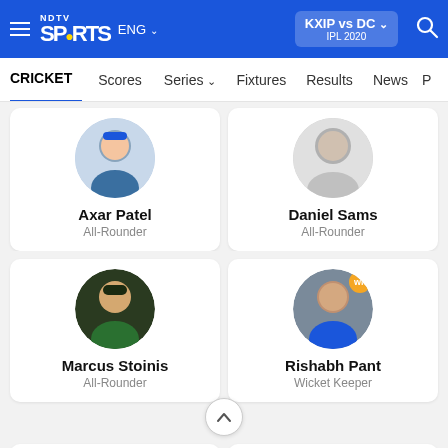NDTV Sports ENG | KXIP vs DC IPL 2020
CRICKET  Scores  Series  Fixtures  Results  News
Axar Patel
All-Rounder
Daniel Sams
All-Rounder
Marcus Stoinis
All-Rounder
Rishabh Pant
Wicket Keeper
[Figure (photo): Player photo placeholder cards for cricket squad listing]
Bottom row partial player cards visible